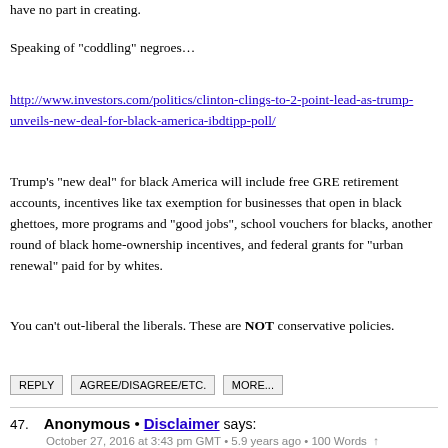have no part in creating.
Speaking of "coddling" negroes…
http://www.investors.com/politics/clinton-clings-to-2-point-lead-as-trump-unveils-new-deal-for-black-america-ibdtipp-poll/
Trump's "new deal" for black America will include free GRE retirement accounts, incentives like tax exemption for businesses that open in black ghettoes, more programs and "good jobs", school vouchers for blacks, another round of black home-ownership incentives, and federal grants for "urban renewal" paid for by whites.
You can't out-liberal the liberals. These are NOT conservative policies.
REPLY   AGREE/DISAGREE/ETC.   MORE...
47. Anonymous • Disclaimer says:
October 27, 2016 at 3:43 pm GMT • 5.9 years ago • 100 Words ↑